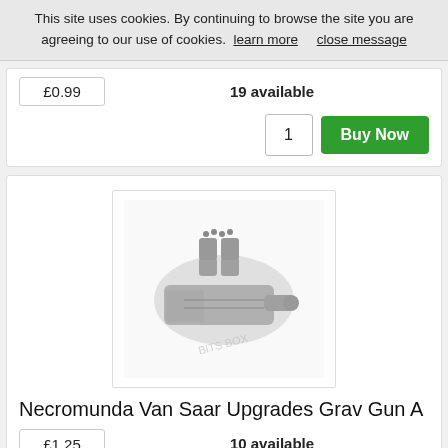This site uses cookies. By continuing to browse the site you are agreeing to our use of cookies. learn more   close message
£0.99
19 available
1
Buy Now
[Figure (photo): Photo of Necromunda Van Saar Upgrades Grav Gun A miniature part, a grey plastic sci-fi weapon component with multiple barrels and mechanical details, shown on white background with watermark.]
Necromunda Van Saar Upgrades Grav Gun A
£1.25
10 available
1
Buy Now